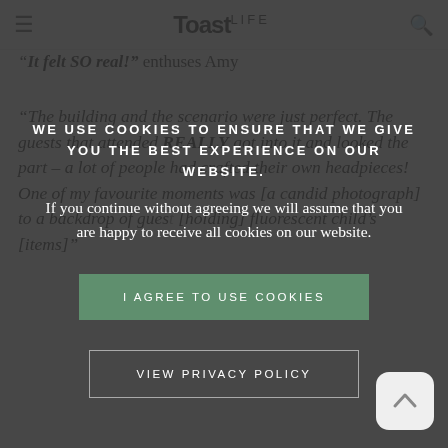Toast.LIFE
way.
“It felt SO real!” enthuses Amy
“The building and the scenario were just perfect. The guests that attended REALLY got into it and looked the part – a lot of people had crafted their own headpieces! One of my favourite moments was [a candid photograph] to a backdrop of guests [holding] fluorescent child’s [items]”
WE USE COOKIES TO ENSURE THAT WE GIVE YOU THE BEST EXPERIENCE ON OUR WEBSITE.
If you continue without agreeing we will assume that you are happy to receive all cookies on our website.
I AGREE TO USE COOKIES
VIEW PRIVACY POLICY